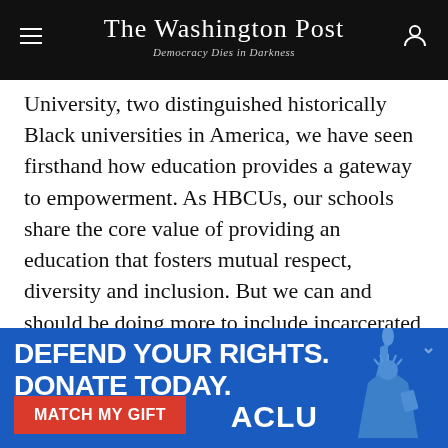The Washington Post — Democracy Dies in Darkness
University, two distinguished historically Black universities in America, we have seen firsthand how education provides a gateway to empowerment. As HBCUs, our schools share the core value of providing an education that fosters mutual respect, diversity and inclusion. But we can and should be doing more to include incarcerated students into that vision. To do that, Congress must lift the ban on federal Pell grants for people in prison.
[Figure (illustration): ACLU advertisement banner on blue background reading DEFEND YOUR RIGHTS. DONATE TODAY. with a red MATCH MY GIFT button and ACLU logo, and Statue of Liberty torch image on the right.]